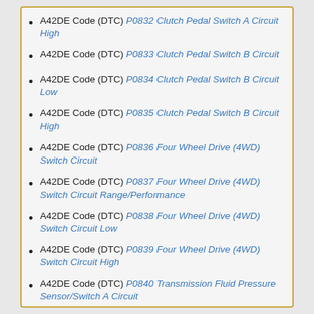A42DE Code (DTC) P0832 Clutch Pedal Switch A Circuit High
A42DE Code (DTC) P0833 Clutch Pedal Switch B Circuit
A42DE Code (DTC) P0834 Clutch Pedal Switch B Circuit Low
A42DE Code (DTC) P0835 Clutch Pedal Switch B Circuit High
A42DE Code (DTC) P0836 Four Wheel Drive (4WD) Switch Circuit
A42DE Code (DTC) P0837 Four Wheel Drive (4WD) Switch Circuit Range/Performance
A42DE Code (DTC) P0838 Four Wheel Drive (4WD) Switch Circuit Low
A42DE Code (DTC) P0839 Four Wheel Drive (4WD) Switch Circuit High
A42DE Code (DTC) P0840 Transmission Fluid Pressure Sensor/Switch A Circuit
A42DE Code (DTC) P0841 Transmission Fluid Pressure Sensor/Switch A Circuit Range/Performance